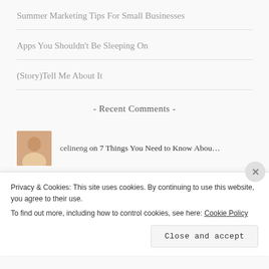Summer Marketing Tips For Small Businesses
Apps You Shouldn't Be Sleeping On
(Story)Tell Me About It
- Recent Comments -
celineng on 7 Things You Need to Know Abou…
jwowensmsgmailcom on 5 WAYS TO SUCCEED IN
Privacy & Cookies: This site uses cookies. By continuing to use this website, you agree to their use.
To find out more, including how to control cookies, see here: Cookie Policy
Close and accept